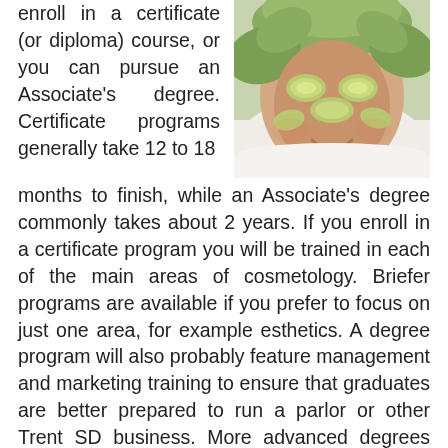[Figure (photo): A person lying down with a spa face mask, cucumber slices on eyes and face, wrapped in a white towel — a cosmetology/esthetics spa treatment photo.]
enroll in a certificate (or diploma) course, or you can pursue an Associate's degree. Certificate programs generally take 12 to 18 months to finish, while an Associate's degree commonly takes about 2 years. If you enroll in a certificate program you will be trained in each of the main areas of cosmetology. Briefer programs are available if you prefer to focus on just one area, for example esthetics. A degree program will also probably feature management and marketing training to ensure that graduates are better prepared to run a parlor or other Trent SD business. More advanced degrees are not prevalent, but Bachelor and Master's degree programs are available in such specializations as salon or spa management. Whatever type of training program you go with, it's imperative to make sure that it's recognized by the South Dakota Board of Cosmetology. A number of states only